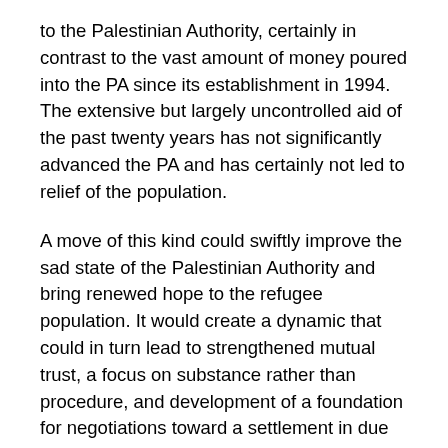to the Palestinian Authority, certainly in contrast to the vast amount of money poured into the PA since its establishment in 1994. The extensive but largely uncontrolled aid of the past twenty years has not significantly advanced the PA and has certainly not led to relief of the population.
A move of this kind could swiftly improve the sad state of the Palestinian Authority and bring renewed hope to the refugee population. It would create a dynamic that could in turn lead to strengthened mutual trust, a focus on substance rather than procedure, and development of a foundation for negotiations toward a settlement in due course. If the PA refuses to act to improve the welfare of its people and prefers to perpetuate their status as refugees, this would be an indication of its future intentions and an attempt to challenge Israel in international institutions. In many senses, the PA is perpetrating a kind of humanitarian crime against